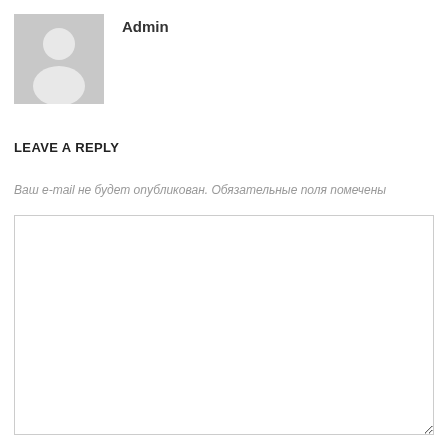[Figure (illustration): Gray placeholder avatar icon showing a generic person silhouette (head and shoulders) on a gray square background]
Admin
LEAVE A REPLY
Ваш e-mail не будет опубликован. Обязательные поля помечены
[Figure (other): Empty white text input area with a thin gray border and resize handle in the bottom-right corner]